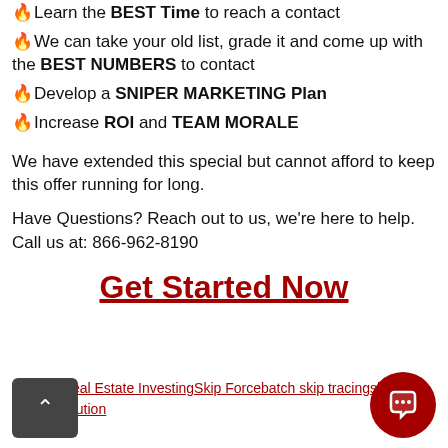🔥Learn the BEST Time to reach a contact
🔥We can take your old list, grade it and come up with the BEST NUMBERS to contact
🔥Develop a SNIPER MARKETING Plan
🔥Increase ROI and TEAM MORALE
We have extended this special but cannot afford to keep this offer running for long.
Have Questions? Reach out to us, we're here to help.
Call us at: 866-962-8190
Get Started Now
Tagged Real Estate InvestingSkip Forcebatch skip tracingskip tracing solution